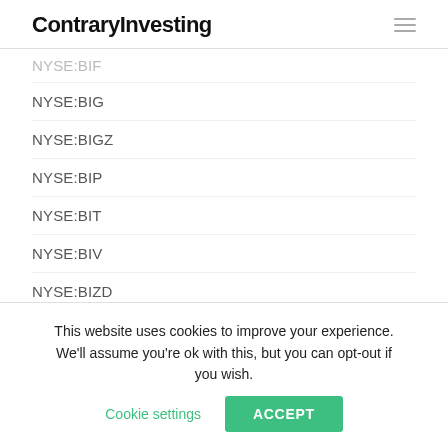ContraryInvesting
NYSE:BIG
NYSE:BIGZ
NYSE:BIP
NYSE:BIT
NYSE:BIV
NYSE:BIZD
NYSE:BKE
NYSE:BKKT
This website uses cookies to improve your experience. We'll assume you're ok with this, but you can opt-out if you wish. Cookie settings ACCEPT